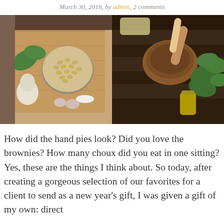March 30, 2018, by admin, 2 Comments
[Figure (photo): Two food photography images side by side: left shows a wooden cutting board with a metal bowl of pine nuts, garlic bulb, garlic cloves, basil leaves, salt and pepper; right shows a wooden mortar and pestle with fresh basil leaves and a small glass jar of olive oil on a dark wood surface.]
How did the hand pies look? Did you love the brownies? How many choux did you eat in one sitting? Yes, these are the things I think about. So today, after creating a gorgeous selection of our favorites for a client to send as a new year's gift, I was given a gift of my own: direct